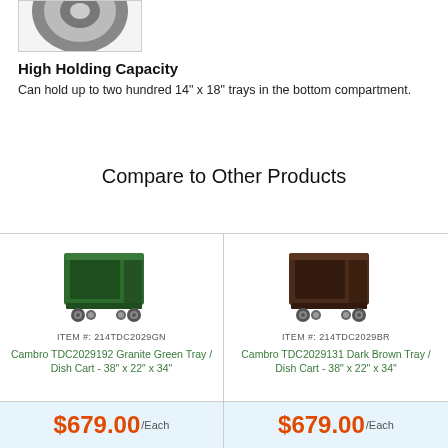[Figure (photo): Close-up of a wheel/caster component, partially visible, on light background]
High Holding Capacity
Can hold up to two hundred 14" x 18" trays in the bottom compartment.
Compare to Other Products
[Figure (photo): Cambro TDC2029GN Granite Green Tray/Dish Cart on wheels, open-sided rectangular green cart]
ITEM #: 214TDC2029GN
Cambro TDC2029192 Granite Green Tray / Dish Cart - 38" x 22" x 34"
[Figure (photo): Cambro TDC2029BR Dark Brown Tray/Dish Cart on wheels, open-sided rectangular dark brown cart]
ITEM #: 214TDC2029BR
Cambro TDC2029131 Dark Brown Tray / Dish Cart - 38" x 22" x 34"
$679.00/Each
$679.00/Each